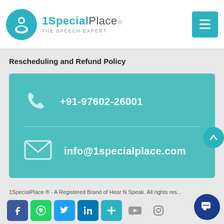[Figure (logo): 1SpecialPlace logo with teal circle icon and text '1SpecialPlace. THE SPEECH EXPERT' and a hamburger menu button]
Rescheduling and Refund Policy
[Figure (infographic): Teal contact card with phone number +91-97602-26001 and email info@1specialplace.com, with phone and envelope icons]
1SpecialPlace ® - A Registered Brand of Hear N Speak. All rights reserved
[Figure (infographic): Social media icons: Facebook, WhatsApp, Twitter, LinkedIn, Add, YouTube, Instagram]